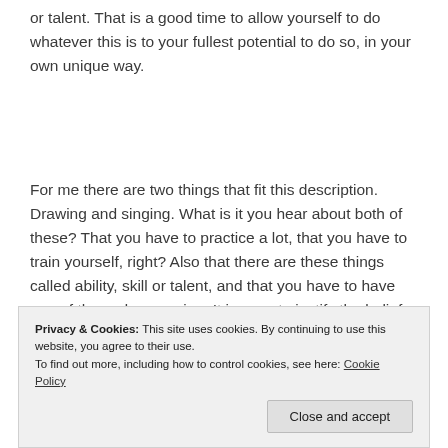or talent. That is a good time to allow yourself to do whatever this is to your fullest potential to do so, in your own unique way.
For me there are two things that fit this description. Drawing and singing. What is it you hear about both of these? That you have to practice a lot, that you have to train yourself, right? Also that there are these things called ability, skill or talent, and that you have to have one of these draw or sing. It is easy to justify the belief in these things. If I sat down and tried to draw
managed to do something simple, maybe a step up
Privacy & Cookies: This site uses cookies. By continuing to use this website, you agree to their use.
To find out more, including how to control cookies, see here: Cookie Policy